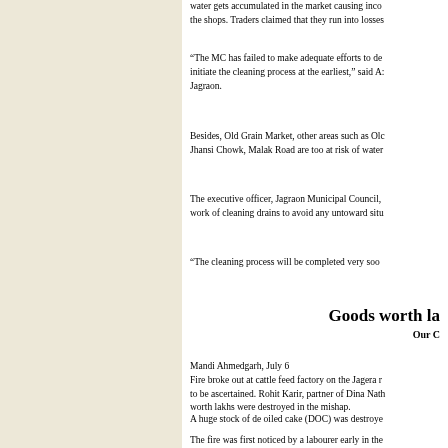water gets accumulated in the market causing inconvenience to the shops. Traders claimed that they run into losses...
“The MC has failed to make adequate efforts to de-silt and initiate the cleaning process at the earliest,” said A... Jagraon.
Besides, Old Grain Market, other areas such as Old... Jhansi Chowk, Malak Road are too at risk of water...
The executive officer, Jagraon Municipal Council, ... work of cleaning drains to avoid any untoward situ...
“The cleaning process will be completed very soon...
Goods worth la
Our C
Mandi Ahmedgarh, July 6
Fire broke out at cattle feed factory on the Jagera r... to be ascertained. Rohit Karir, partner of Dina Nath... worth lakhs were destroyed in the mishap.
A huge stock of de oiled cake (DOC) was destroye...
The fire was first noticed by a labourer early in the...